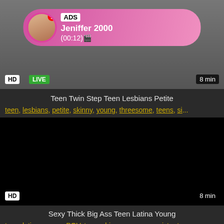[Figure (screenshot): Video thumbnail with HD badge, LIVE badge, 8 min duration, and advertisement overlay showing profile picture, ADS label, name Jeniffer 2000, and time (00:12)]
Teen Twin Step Teen Lesbians Petite
teen, lesbians, petite, skinny, young, threesome, teens, si...
[Figure (screenshot): Dark/black video thumbnail with HD badge and 8 min duration label]
Sexy Thick Big Ass Teen Latina Young
teen, latina, young, POV, teens, big ass, orgasm, sister ta...